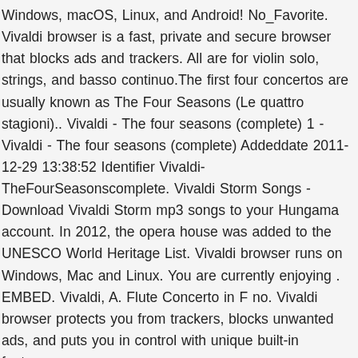Windows, macOS, Linux, and Android! No_Favorite. Vivaldi browser is a fast, private and secure browser that blocks ads and trackers. All are for violin solo, strings, and basso continuo.The first four concertos are usually known as The Four Seasons (Le quattro stagioni).. Vivaldi - The four seasons (complete) 1 - Vivaldi - The four seasons (complete) Addeddate 2011-12-29 13:38:52 Identifier Vivaldi-TheFourSeasonscomplete. Vivaldi Storm Songs - Download Vivaldi Storm mp3 songs to your Hungama account. In 2012, the opera house was added to the UNESCO World Heritage List. Vivaldi browser runs on Windows, Mac and Linux. You are currently enjoying . EMBED. Vivaldi, A. Flute Concerto in F no. Vivaldi browser protects you from trackers, blocks unwanted ads, and puts you in control with unique built-in features.